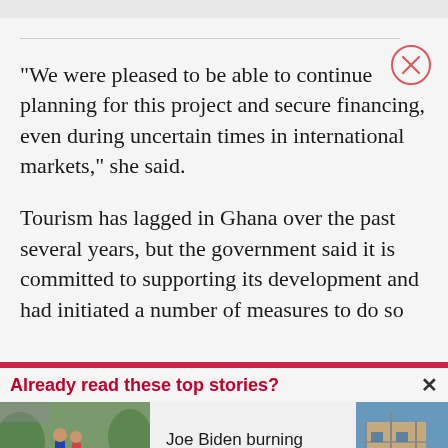“We were pleased to be able to continue planning for this project and secure financing, even during uncertain times in international markets,” she said.
Tourism has lagged in Ghana over the past several years, but the government said it is committed to supporting its development and had initiated a number of measures to do so
Already read these top stories?
Joe Biden burning down the house